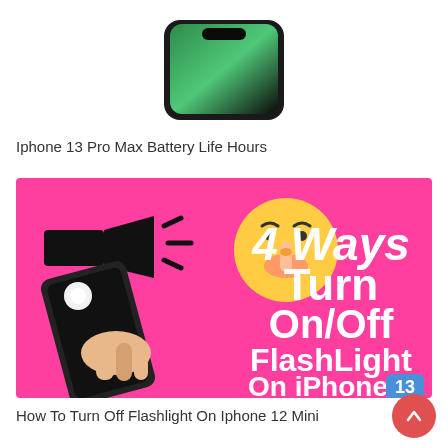[Figure (photo): Partial view of iPhone 13 Pro Max screen showing green wallpaper, top portion of phone]
Iphone 13 Pro Max Battery Life Hours
[Figure (photo): Pink thumbnail image: hand holding iPhone 13 with flashlight on, flashlight icon, shushing emoji, white bold text reading '4 Ways Turn On/Off FlashLight On iPhone 13']
How To Turn Off Flashlight On Iphone 12 Mini